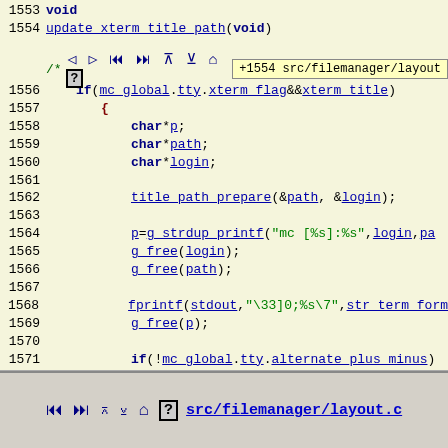[Figure (screenshot): Source code viewer showing C code for function update_xterm_title_path, lines 1553-1577, with syntax highlighting, hyperlinks, and a toolbar with navigation icons and tooltip showing '+1554 src/filemanager/layout']
src/filemanager/layout.c